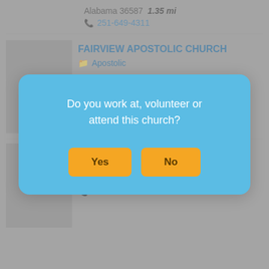Alabama 36587   1.35 mi
📞 251-649-4311
FAIRVIEW APOSTOLIC CHURCH
📁 Apostolic
[Figure (screenshot): Modal dialog overlay asking 'Do you work at, volunteer or attend this church?' with Yes and No buttons]
📁 Baptist
📍 11366 MOFFETT ROAD, Wilmer, Alabama 36587   1.57 mi
📞 251-649-2992